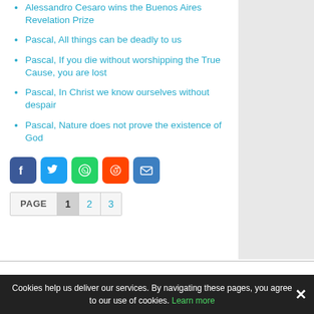Alessandro Cesaro wins the Buenos Aires Revelation Prize
Pascal, All things can be deadly to us
Pascal, If you die without worshipping the True Cause, you are lost
Pascal, In Christ we know ourselves without despair
Pascal, Nature does not prove the existence of God
[Figure (infographic): Social share buttons: Facebook, Twitter, WhatsApp, Reddit, Email]
PAGE 1 2 3
Cookies help us deliver our services. By navigating these pages, you agree to our use of cookies. Learn more